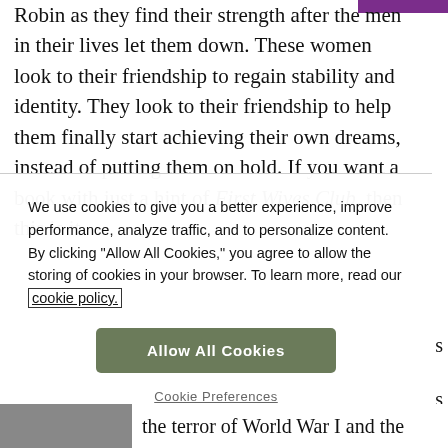Robin as they find their strength after the men in their lives let them down. These women look to their friendship to regain stability and identity. They look to their friendship to help them finally start achieving their own dreams, instead of putting them on hold. If you want a book with just a hint of First Wives Club, then this is it.
We use cookies to give you a better experience, improve performance, analyze traffic, and to personalize content. By clicking "Allow All Cookies," you agree to allow the storing of cookies in your browser. To learn more, read our cookie policy.
Allow All Cookies
Cookie Preferences
the terror of World War I and the